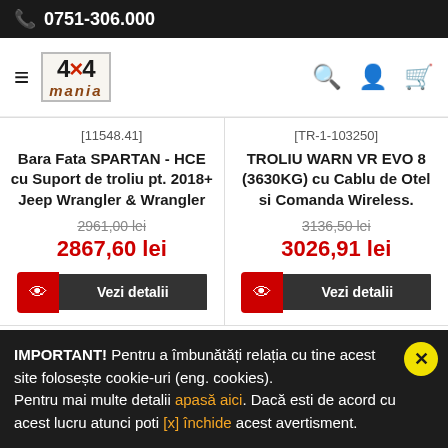☎ 0751-306.000
[Figure (logo): 4x4 mania logo with hamburger menu and navigation icons (search, user, cart)]
[11548.41]
Bara Fata SPARTAN - HCE cu Suport de troliu pt. 2018+ Jeep Wrangler & Wrangler
2961,00 lei
2867,60 lei
[TR-1-103250]
TROLIU WARN VR EVO 8 (3630KG) cu Cablu de Otel si Comanda Wireless.
3136,50 lei
3026,91 lei
IMPORTANT! Pentru a îmbunătăți relația cu tine acest site folosește cookie-uri (eng. cookies). Pentru mai multe detalii apasă aici. Dacă esti de acord cu acest lucru atunci poti [x] închide acest avertisment.